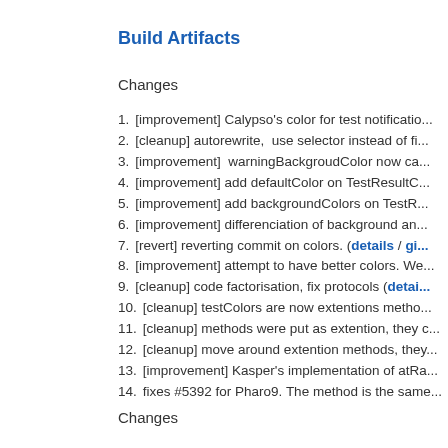Build Artifacts
Changes
1. [improvement] Calypso's color for test notificatio...
2. [cleanup] autorewrite,  use selector instead of fi...
3. [improvement]  warningBackgroudColor now ca...
4. [improvement] add defaultColor on TestResultC...
5. [improvement] add backgroundColors on TestR...
6. [improvement] differenciation of background an...
7. [revert] reverting commit on colors. (details / gi...
8. [improvement] attempt to have better colors. We...
9. [cleanup] code factorisation, fix protocols (detai...
10. [cleanup] testColors are now extentions metho...
11. [cleanup] methods were put as extention, they c...
12. [cleanup] move around extention methods, they...
13. [improvement] Kasper's implementation of atRa...
14. fixes #5392 for Pharo9. The method is the same...
Changes